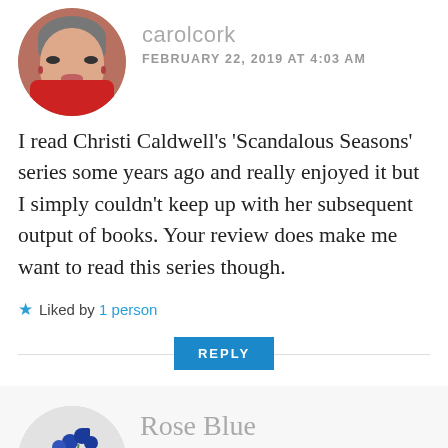[Figure (photo): Circular avatar photo of an older woman with short gray hair, wearing a red top, smiling]
carolcork
FEBRUARY 22, 2019 AT 4:03 AM
I read Christi Caldwell’s ‘Scandalous Seasons’ series some years ago and really enjoyed it but I simply couldn’t keep up with her subsequent output of books. Your review does make me want to read this series though.
★ Liked by 1 person
REPLY
[Figure (photo): Circular avatar photo showing blue roses in a vase on a light gray background]
Rose Blue
FEBRUARY 22, 2019 AT